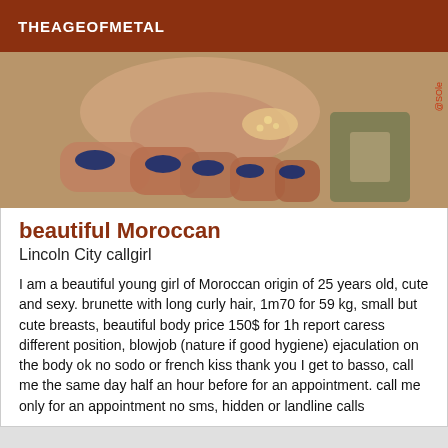THEAGEOFMETAL
[Figure (photo): Close-up photo of feet with dark blue nail polish and glitter decoration on a patterned surface]
beautiful Moroccan
Lincoln City callgirl
I am a beautiful young girl of Moroccan origin of 25 years old, cute and sexy. brunette with long curly hair, 1m70 for 59 kg, small but cute breasts, beautiful body price 150$ for 1h report caress different position, blowjob (nature if good hygiene) ejaculation on the body ok no sodo or french kiss thank you I get to basso, call me the same day half an hour before for an appointment. call me only for an appointment no sms, hidden or landline calls